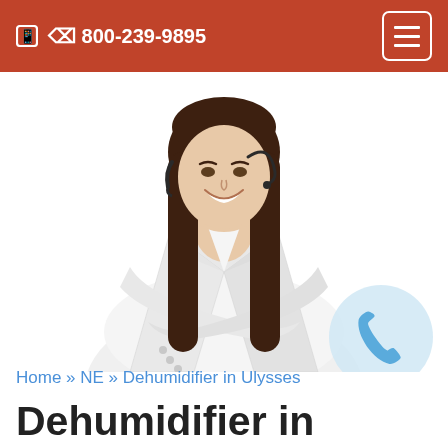📱 800-239-9895
[Figure (photo): Woman in white blazer with headset, arms crossed, smiling — customer service representative photo]
[Figure (illustration): Light blue phone receiver icon in a light blue circle, bottom right corner]
Home » NE » Dehumidifier in Ulysses
Dehumidifier in Ulysses